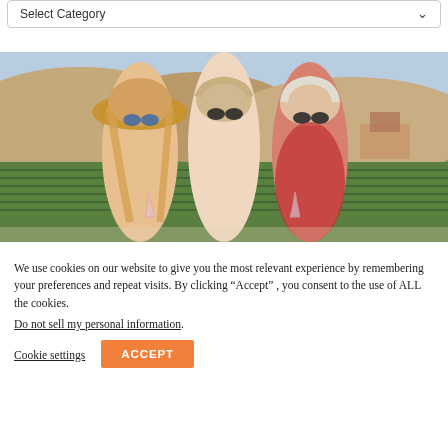Select Category
[Figure (photo): Three women smiling together wearing sunglasses, with a vineyard landscape and hills in the background. The woman on the left wears a wide-brim straw hat and holds a wine glass. The center woman has grey-blonde hair. The woman on the right wears a red floral top and also holds a wine glass.]
We use cookies on our website to give you the most relevant experience by remembering your preferences and repeat visits. By clicking “Accept” , you consent to the use of ALL the cookies.
Do not sell my personal information.
Cookie settings
ACCEPT